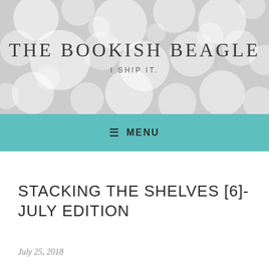THE BOOKISH BEAGLE
I SHIP IT.
MENU
STACKING THE SHELVES [6]- JULY EDITION
July 25, 2018